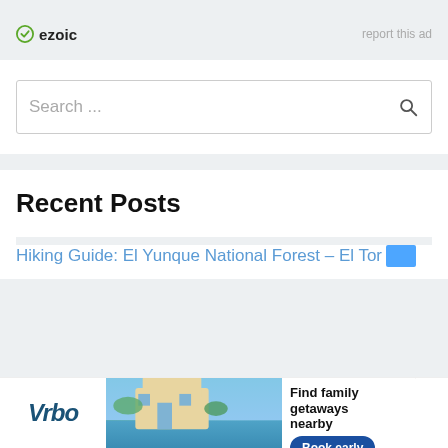[Figure (logo): Ezoic logo with green circle checkmark icon and bold 'ezoic' text, with 'report this ad' link on the right]
[Figure (screenshot): Search bar widget with placeholder text 'Search ...' and a magnifying glass icon on the right]
Recent Posts
Hiking Guide: El Yunque National Forest – El Tor
[Figure (infographic): Vrbo advertisement banner at bottom: Vrbo italic logo, beach house photo, 'Find family getaways nearby' text, 'Book early' blue button, with arrow and X close icons]